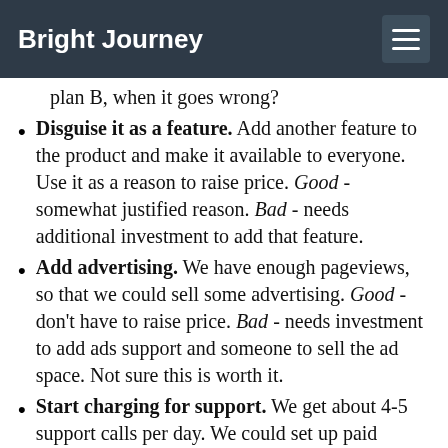Bright Journey
plan B, when it goes wrong?
Disguise it as a feature. Add another feature to the product and make it available to everyone. Use it as a reason to raise price. Good - somewhat justified reason. Bad - needs additional investment to add that feature.
Add advertising. We have enough pageviews, so that we could sell some advertising. Good - don't have to raise price. Bad - needs investment to add ads support and someone to sell the ad space. Not sure this is worth it.
Start charging for support. We get about 4-5 support calls per day. We could set up paid number and start charging for those calls (e-mail would remain free). Good - requires almost no investment. Bad - probably not worth it. Helpful and free support was considered one of the main